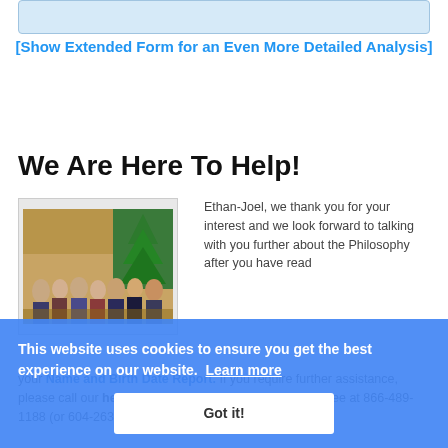[Figure (other): Light blue box at top of page, partially visible]
[Show Extended Form for an Even More Detailed Analysis]
We Are Here To Help!
[Figure (photo): Group photo of approximately 7-8 people standing together indoors near a Christmas tree]
Ethan-Joel, we thank you for your interest and we look forward to talking with you further about the Philosophy after you have read your Name and Birth Date Report. If you require further assistance, please call our head office in Vancouver, Canada toll-free at 866-489-1188 (or 604-263-9551 if
This website uses cookies to ensure you get the best experience on our website. Learn more Got it!